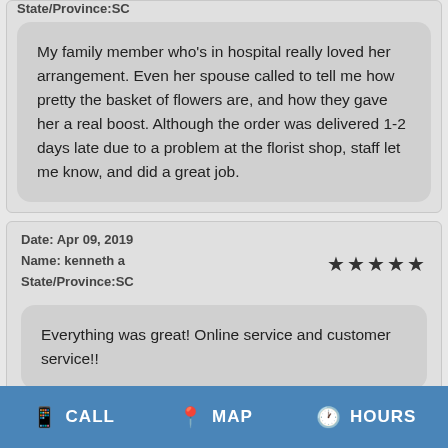State/Province:SC
My family member who’s in hospital really loved her arrangement. Even her spouse called to tell me how pretty the basket of flowers are, and how they gave her a real boost. Although the order was delivered 1-2 days late due to a problem at the florist shop, staff let me know, and did a great job.
Date: Apr 09, 2019
Name: kenneth a
State/Province:SC
Everything was great! Online service and customer service!!
CALL  MAP  HOURS